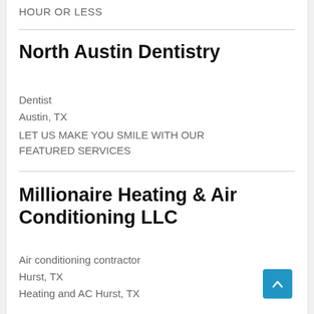HOUR OR LESS
North Austin Dentistry
Dentist
Austin, TX
LET US MAKE YOU SMILE WITH OUR FEATURED SERVICES
Millionaire Heating & Air Conditioning LLC
Air conditioning contractor
Hurst, TX
Heating and AC Hurst, TX